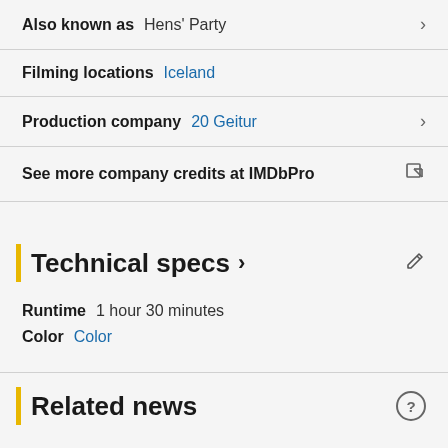Also known as  Hens' Party
Filming locations  Iceland
Production company  20 Geitur
See more company credits at IMDbPro
Technical specs
Runtime  1 hour 30 minutes
Color  Color
Related news